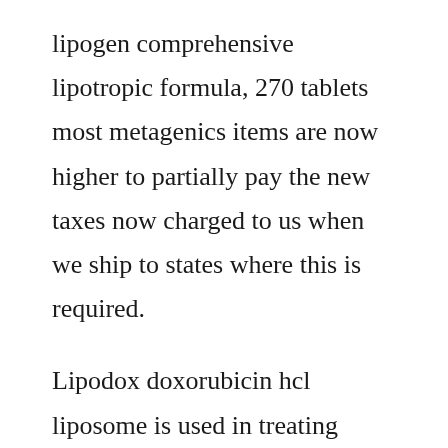lipogen comprehensive lipotropic formula, 270 tablets most metagenics items are now higher to partially pay the new taxes now charged to us when we ship to states where this is required.
Lipodox doxorubicin hcl liposome is used in treating advanced ovarian cancer and aidsrelated kaposi sarcoma in certain patients. Extracting data from pdfs using tabula school of data. Bula completa do liposic voce encontra no medicinanet. Lipocavitacaoa tecnologia da lipocavitacao e baseada em